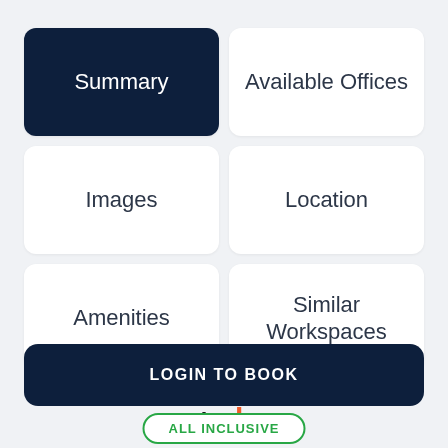Summary
Available Offices
Images
Location
Amenities
Similar Workspaces
[Figure (logo): x+why logo in dark and orange text]
LOGIN TO BOOK
ALL INCLUSIVE